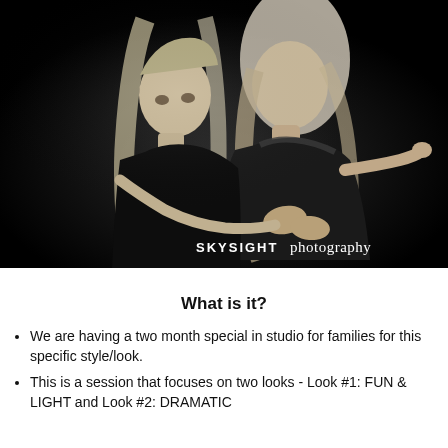[Figure (photo): Black and white studio portrait photograph of two females (a young girl and an older woman/mother) dressed in black, embracing each other against a black background. The younger girl leans against the older woman from behind. Studio lighting creates dramatic contrast. Watermark reads 'SKYSIGHT photography' in bottom right corner.]
What is it?
We are having a two month special in studio for families for this specific style/look.
This is a session that focuses on two looks - Look #1: FUN & LIGHT and Look #2: DRAMATIC